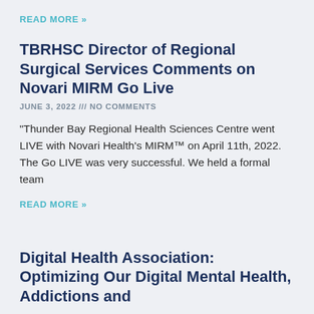READ MORE »
TBRHSC Director of Regional Surgical Services Comments on Novari MIRM Go Live
JUNE 3, 2022 /// NO COMMENTS
“Thunder Bay Regional Health Sciences Centre went LIVE with Novari Health’s MIRM™ on April 11th, 2022. The Go LIVE was very successful. We held a formal team
READ MORE »
Digital Health Association: Optimizing Our Digital Mental Health, Addictions and